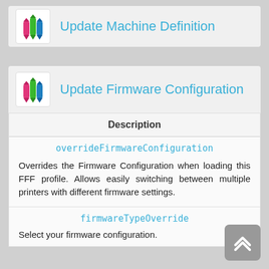Update Machine Definition
Update Firmware Configuration
Description
overrideFirmwareConfiguration
Overrides the Firmware Configuration when loading this FFF profile. Allows easily switching between multiple printers with different firmware settings.
firmwareTypeOverride
Select your firmware configuration.